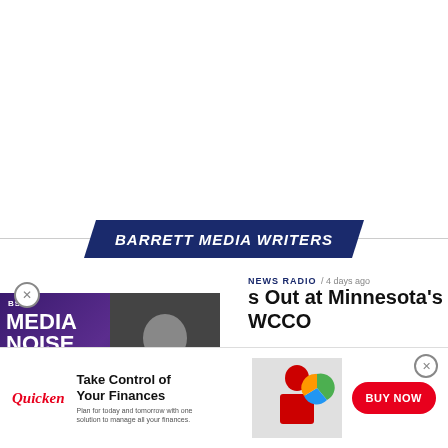[Figure (screenshot): Barrett Media Writers banner with dark blue parallelogram shape and white italic bold text]
[Figure (screenshot): BSM Media Noise podcast thumbnail with purple gradient background and photo overlay]
[Figure (logo): Nielsen company logo with orange and blue dots]
NEWS RADIO / 4 days ago
s Out at Minnesota's WCCO
NEWS / 3 days ago
[Figure (screenshot): Quicken advertisement banner: Take Control of Your Finances - Plan for today and tomorrow with one solution to manage all your finances. BUY NOW button.]